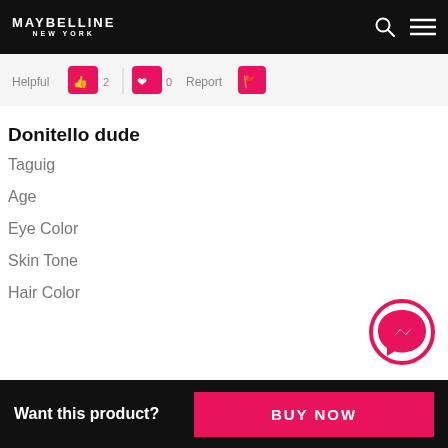MAYBELLINE NEW YORK
[Figure (screenshot): Navigation bar with rating elements and pink heart icons]
Donitello dude
Taguig
Age
Eye Color
Skin Tone
Hair Color
[Figure (logo): Facebook Messenger pink circle icon button]
Want this product? BUY NOW